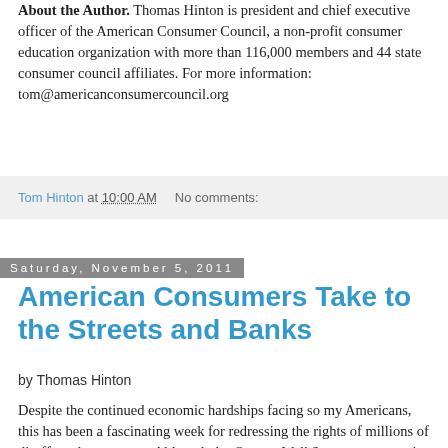About the Author. Thomas Hinton is president and chief executive officer of the American Consumer Council, a non-profit consumer education organization with more than 116,000 members and 44 state consumer council affiliates. For more information: tom@americanconsumercouncil.org
Tom Hinton at 10:00 AM   No comments:
Saturday, November 5, 2011
American Consumers Take to the Streets and Banks
by Thomas Hinton
Despite the continued economic hardships facing so my Americans, this has been a fascinating week for redressing the rights of millions of disaffected consumers. Although the Occupy Wall Street movement is losing some momentum, the average middle-class consumer found a new reason to...